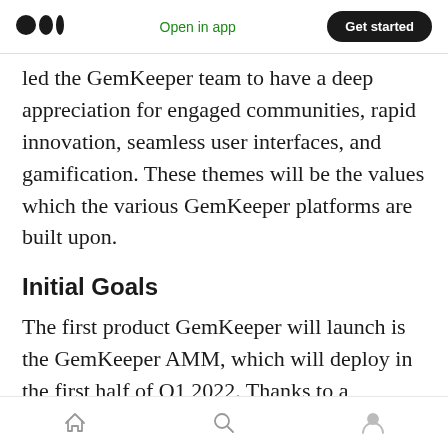Open in app | Get started
led the GemKeeper team to have a deep appreciation for engaged communities, rapid innovation, seamless user interfaces, and gamification. These themes will be the values which the various GemKeeper platforms are built upon.
Initial Goals
The first product GemKeeper will launch is the GemKeeper AMM, which will deploy in the first half of Q1 2022. Thanks to a generous grant from the Oasis Protocol Foundation, GemKeeper's AMM will have a RockShield audit report
Home | Search | Profile